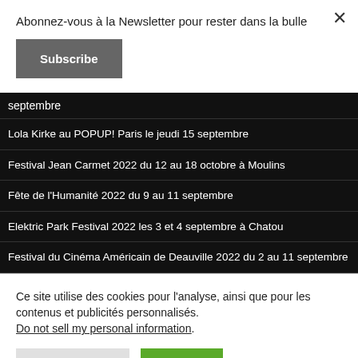Abonnez-vous à la Newsletter pour rester dans la bulle
Subscribe
septembre
Lola Kirke au POPUP! Paris le jeudi 15 septembre
Festival Jean Carmet 2022 du 12 au 18 octobre à Moulins
Fête de l'Humanité 2022 du 9 au 11 septembre
Elektric Park Festival 2022 les 3 et 4 septembre à Chatou
Festival du Cinéma Américain de Deauville 2022 du 2 au 11 septembre
Ce site utilise des cookies pour l'analyse, ainsi que pour les contenus et publicités personnalisés. Do not sell my personal information.
Cookie Settings
Accept